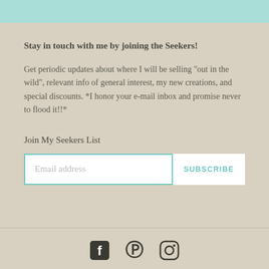Stay in touch with me by joining the Seekers!
Get periodic updates about where I will be selling "out in the wild", relevant info of general interest, my new creations, and special discounts.  *I honor your e-mail inbox and promise never to flood it!!*
Join My Seekers List
[Figure (screenshot): Email subscription form with 'Email address' input field and 'SUBSCRIBE' button]
[Figure (infographic): Social media icons: Facebook, Pinterest, Instagram]